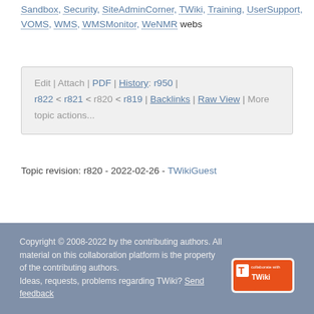Sandbox, Security, SiteAdminCorner, TWiki, Training, UserSupport, VOMS, WMS, WMSMonitor, WeNMR webs
Edit | Attach | PDF | History: r950 | r822 < r821 < r820 < r819 | Backlinks | Raw View | More topic actions...
Topic revision: r820 - 2022-02-26 - TWikiGuest
Copyright © 2008-2022 by the contributing authors. All material on this collaboration platform is the property of the contributing authors. Ideas, requests, problems regarding TWiki? Send feedback